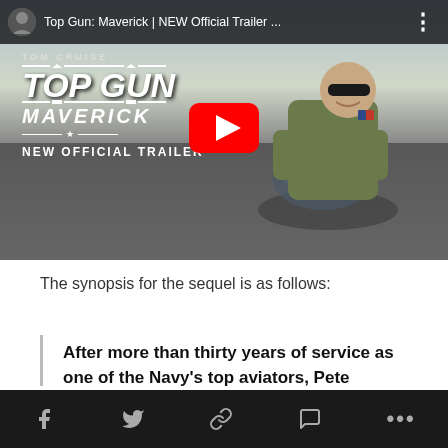[Figure (screenshot): YouTube video thumbnail for 'Top Gun: Maverick | NEW Official Trailer ...' showing Tom Cruise on a motorcycle on a road, with the Top Gun Maverick logo, 'NEW OFFICIAL TRAILER' text, and a YouTube play button overlay. Top bar shows channel icon and video title.]
The synopsis for the sequel is as follows:
After more than thirty years of service as one of the Navy's top aviators, Pete
social share icons: Facebook, Twitter, Link, Comment, More